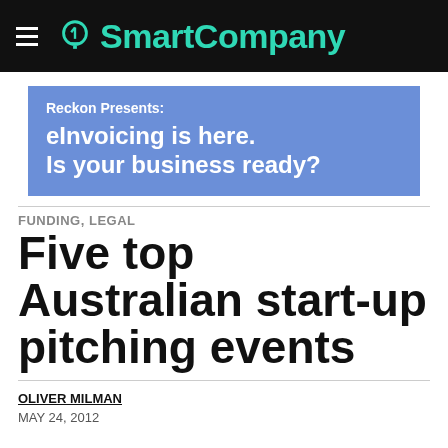SmartCompany
[Figure (other): Reckon Presents: eInvoicing is here. Is your business ready? — advertisement banner with blue background]
FUNDING, LEGAL
Five top Australian start-up pitching events
OLIVER MILMAN
MAY 24, 2012